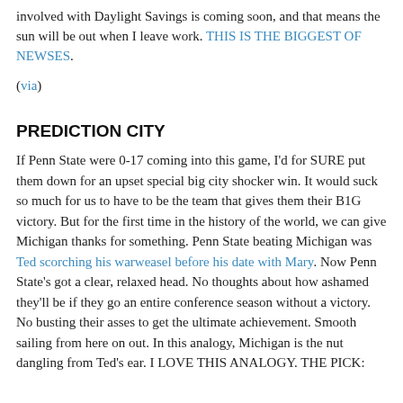involved with Daylight Savings is coming soon, and that means the sun will be out when I leave work. THIS IS THE BIGGEST OF NEWSES.
(via)
PREDICTION CITY
If Penn State were 0-17 coming into this game, I'd for SURE put them down for an upset special big city shocker win. It would suck so much for us to have to be the team that gives them their B1G victory. But for the first time in the history of the world, we can give Michigan thanks for something. Penn State beating Michigan was Ted scorching his warweasel before his date with Mary. Now Penn State's got a clear, relaxed head. No thoughts about how ashamed they'll be if they go an entire conference season without a victory. No busting their asses to get the ultimate achievement. Smooth sailing from here on out. In this analogy, Michigan is the nut dangling from Ted's ear. I LOVE THIS ANALOGY. THE PICK: